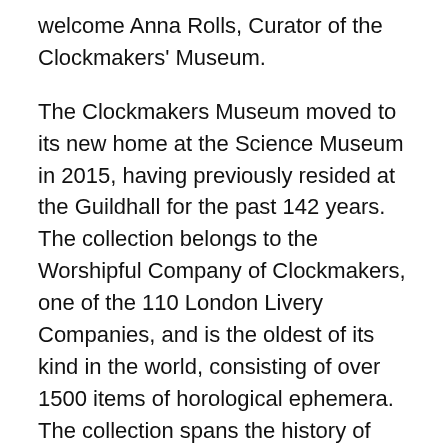welcome Anna Rolls, Curator of the Clockmakers' Museum.
The Clockmakers Museum moved to its new home at the Science Museum in 2015, having previously resided at the Guildhall for the past 142 years. The collection belongs to the Worshipful Company of Clockmakers, one of the 110 London Livery Companies, and is the oldest of its kind in the world, consisting of over 1500 items of horological ephemera. The collection spans the history of over 400 years of clock-making in Great Britain and beyond, and the gallery tells its story paying particular attention to the clockmakers of London and the beginnings of the Clockmakers Company.
Anna started as the Museum's Curator in September 2018, and has been busy familiarising herself with the Museum and Company's history and customs, thanks to